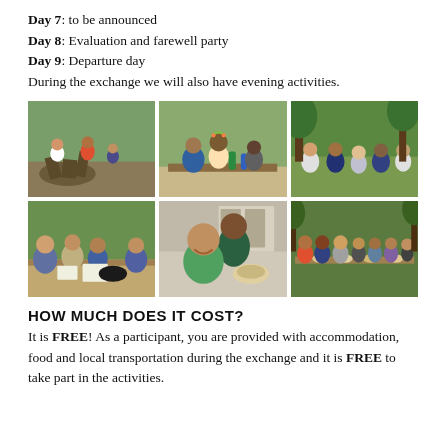Day 7: to be announced
Day 8: Evaluation and farewell party
Day 9: Departure day
During the exchange we will also have evening activities.
[Figure (photo): Six photos of youth exchange participants in outdoor and indoor settings: building a campfire, eating together at picnic tables, group discussions outdoors, cooking/eating indoors, and an outdoor dinner.]
HOW MUCH DOES IT COST?
It is FREE! As a participant, you are provided with accommodation, food and local transportation during the exchange and it is FREE to take part in the activities.